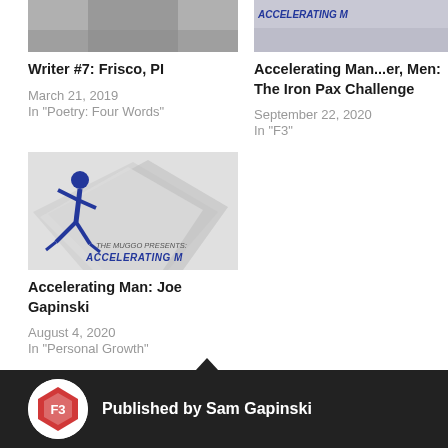[Figure (photo): Top portion of a person photo cropped at top]
Writer #7: Frisco, PI
March 21, 2019
In "Poetry: Four Words"
[Figure (photo): Partial image of Accelerating Man book/graphic with blue text at top]
Accelerating Man...er, Men: The Iron Pax Challenge
September 22, 2020
In "F3"
[Figure (illustration): Blue running man silhouette with geometric gray diamond shapes and text reading THE MUGGO PRESENTS: ACCELERATING M]
Accelerating Man: Joe Gapinski
August 4, 2020
In "Personal Growth"
COMMUNITY
F3
FITNESS
HEALTH
Published by Sam Gapinski